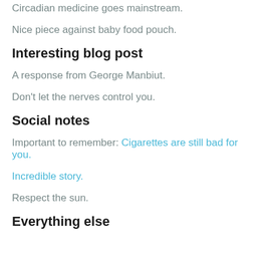Circadian medicine goes mainstream.
Nice piece against baby food pouch.
Interesting blog post
A response from George Manbiut.
Don't let the nerves control you.
Social notes
Important to remember: Cigarettes are still bad for you.
Incredible story.
Respect the sun.
Everything else